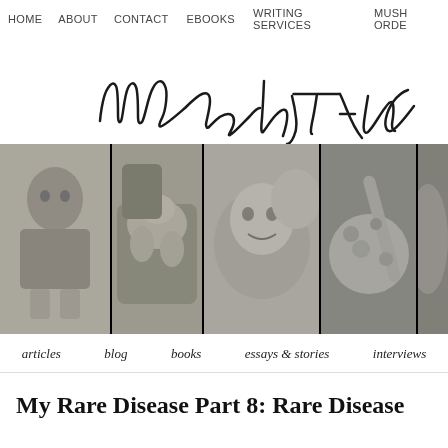HOME   ABOUT   CONTACT   EBOOKS   WRITING SERVICES   MUSH ORDE
[Figure (illustration): Handwritten cursive logo reading 'Mush by Tara' in black ink on white background]
[Figure (photo): Black and white photo strip with 5 panels: baby on someone's lap, dog with tattoo hand, woman being kissed on cheek, food with spoon, partial image at right edge]
articles   blog   books   essays & stories   interviews
My Rare Disease Part 8: Rare Disease